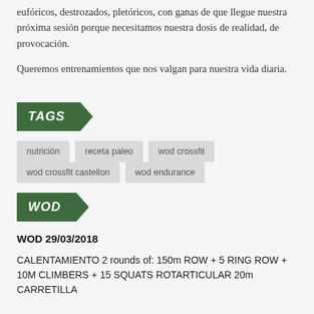eufóricos, destrozados, pletóricos, con ganas de que llegue nuestra próxima sesión porque necesitamos nuestra dosis de realidad, de provocación.
Queremos entrenamientos que nos valgan para nuestra vida diaria.
TAGS
nutrición
receta paleo
wod crossfit
wod crossfit castellon
wod endurance
WOD
WOD 29/03/2018
CALENTAMIENTO 2 rounds of: 150m ROW + 5 RING ROW + 10M CLIMBERS + 15 SQUATS ROTARTICULAR 20m CARRETILLA